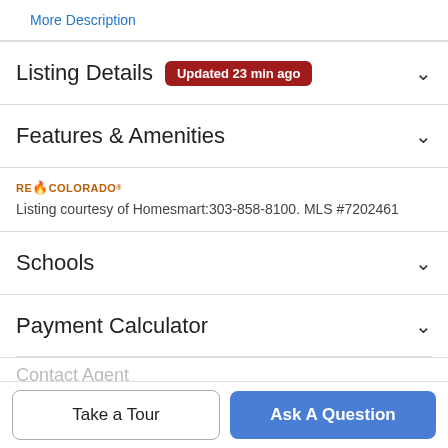More Description
Listing Details Updated 23 min ago
Features & Amenities
[Figure (logo): REcolorado logo with flame icon]
Listing courtesy of Homesmart:303-858-8100. MLS #7202461
Schools
Payment Calculator
Contact Agent
Take a Tour
Ask A Question